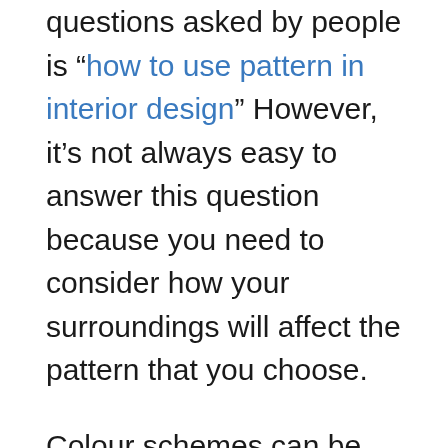questions asked by people is “how to use pattern in interior design” However, it’s not always easy to answer this question because you need to consider how your surroundings will affect the pattern that you choose.
Colour schemes can be created using a variety of methods – some experts use colour wheels, while others pick their favourite colours and then arrange them